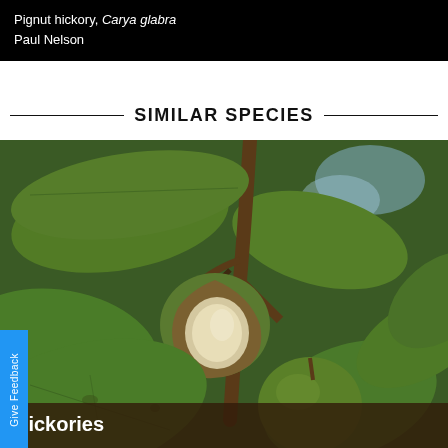Pignut hickory, Carya glabra
Paul Nelson
SIMILAR SPECIES
[Figure (photo): Close-up photograph of pignut hickory nuts on a branch, showing one open nut exposing the pale inner nut, surrounded by large green leaves. Two green hickory nuts visible, one partially open.]
Give Feedback
Hickories